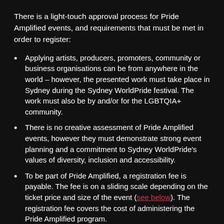There is a light-touch approval process for Pride Amplified events, and requirements that must be met in order to register:
Applying artists, producers, promoters, community or business organisations can be from anywhere in the world – however, the presented work must take place in Sydney during the Sydney WorldPride festival. The work must also be by and/or for the LGBTQIA+ community.
There is no creative assessment of Pride Amplified events, however they must demonstrate strong event planning and a commitment to Sydney WorldPride's values of diversity, inclusion and accessibility.
To be part of Pride Amplified, a registration fee is payable. The fee is on a sliding scale depending on the ticket price and size of the event (see below). The registration fee covers the cost of administering the Pride Amplified program.
Projects that are both not for profit AND have not received philanthropic, corporate or government financial support, will have the option to apply for